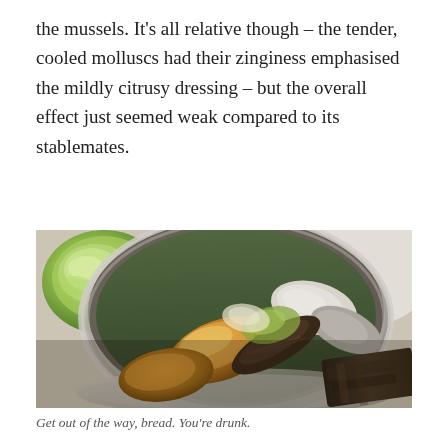the mussels. It's all relative though – the tender, cooled molluscs had their zinginess emphasised the mildly citrusy dressing – but the overall effect just seemed weak compared to its stablemates.
[Figure (photo): Close-up photograph of mussels and seafood in a metal tin/can container, with a small bowl of green sauce visible in the upper left, and charred bread or meat visible in the lower right. The mussels appear golden/amber colored in a liquid.]
Get out of the way, bread. You're drunk.